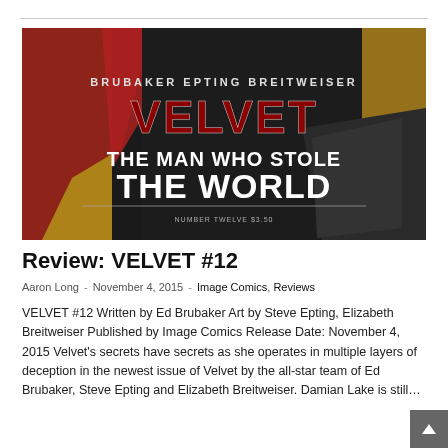[Figure (photo): Comic book cover for VELVET #12 — 'The Man Who Stole the World' by Brubaker, Epting, Breitweiser. Shows a woman in red and yellow with dramatic title text on dark background.]
Review: VELVET #12
Aaron Long - November 4, 2015 - Image Comics, Reviews
VELVET #12 Written by Ed Brubaker Art by Steve Epting, Elizabeth Breitweiser Published by Image Comics Release Date: November 4, 2015 Velvet's secrets have secrets as she operates in multiple layers of deception in the newest issue of Velvet by the all-star team of Ed Brubaker, Steve Epting and Elizabeth Breitweiser. Damian Lake is still…